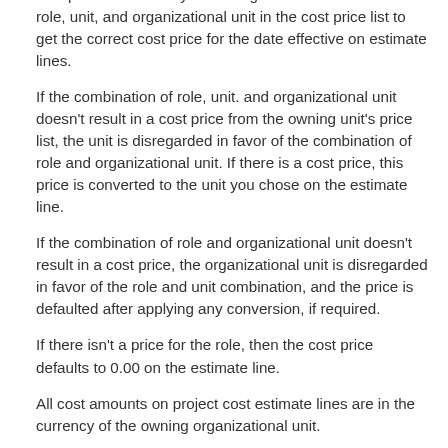Dynamics 365 for Project Service Automation determine cost prices for roles by searching for the combination of role, unit, and organizational unit in the cost price list to get the correct cost price for the date effective on estimate lines.
If the combination of role, unit. and organizational unit doesn't result in a cost price from the owning unit's price list, the unit is disregarded in favor of the combination of role and organizational unit. If there is a cost price, this price is converted to the unit you chose on the estimate line.
If the combination of role and organizational unit doesn't result in a cost price, the organizational unit is disregarded in favor of the role and unit combination, and the price is defaulted after applying any conversion, if required.
If there isn't a price for the role, then the cost price defaults to 0.00 on the estimate line.
All cost amounts on project cost estimate lines are in the currency of the owning organizational unit.
Sales price defaulting